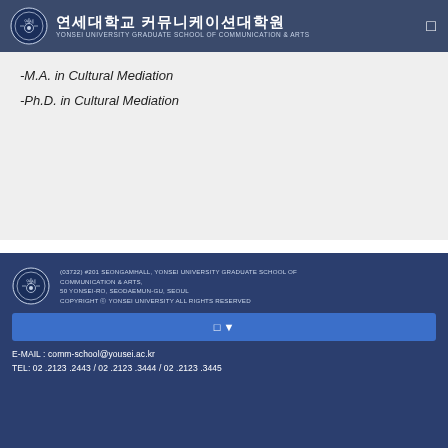연세대학교 커뮤니케이션대학원 YONSEI UNIVERSITY GRADUATE SCHOOL OF COMMUNICATION & ARTS
-M.A. in Cultural Mediation
-Ph.D. in Cultural Mediation
(03722) #201 SEONGAMHALL, YONSEI UNIVERSITY GRADUATE SCHOOL OF COMMUNICATION & ARTS, 50 YONSEI-RO, SEODAEMUN-GU, SEOUL COPYRIGHT © YONSEI UNIVERSITY ALL RIGHTS RESERVED E-MAIL : comm-school@yousei.ac.kr TEL: 02 .2123 .2443 / 02 .2123 .3444 / 02 .2123 .3445